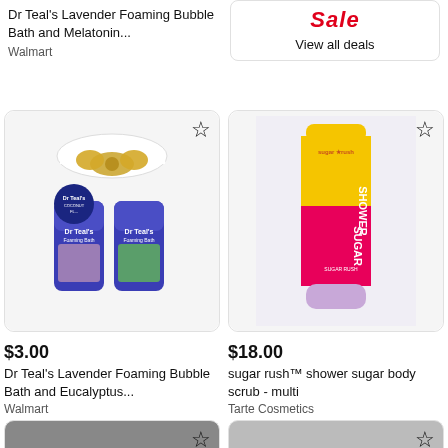Dr Teal's Lavender Foaming Bubble Bath and Melatonin...
Walmart
[Figure (screenshot): Sale banner with red italic 'Sale' text and 'View all deals' link inside a rounded rectangle card]
[Figure (photo): Dr Teal's Lavender Foaming Bubble Bath and Eucalyptus two-pack gift set in blue bottles with gold bow]
[Figure (photo): sugar rush shower sugar body scrub tube - multi colored pink, yellow, and lavender]
$3.00
Dr Teal's Lavender Foaming Bubble Bath and Eucalyptus...
Walmart
$18.00
sugar rush™ shower sugar body scrub - multi
Tarte Cosmetics